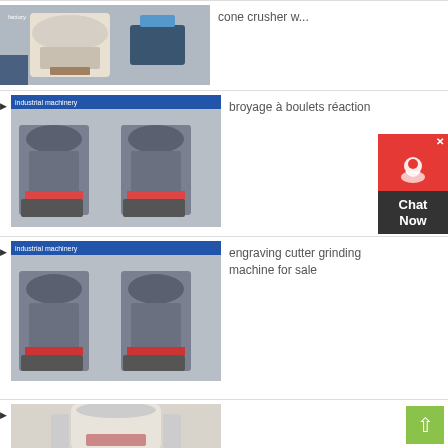[Figure (photo): Industrial cone crusher machine in a factory setting]
cone crusher w...
[Figure (photo): Industrial ball mill / grinding machine in factory]
broyage à boulets réaction
[Figure (photo): Industrial grinding machine in factory setting]
engraving cutter grinding machine for sale
[Figure (photo): Large white cone crusher machine]
[Figure (other): Chat Now customer service widget with red icon and dark label]
[Figure (other): Back to top green button with up arrow]